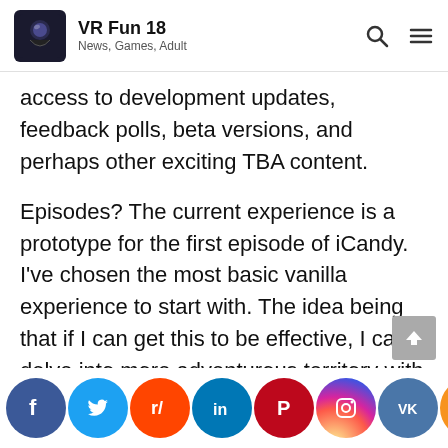VR Fun 18 — News, Games, Adult
access to development updates, feedback polls, beta versions, and perhaps other exciting TBA content.
Episodes? The current experience is a prototype for the first episode of iCandy. I've chosen the most basic vanilla experience to start with. The idea being that if I can get this to be effective, I can delve into more adventurous territory with future episodes. Ultimately, I want to craft a series of small, highly polished experiences that explore the full potential of interactive VR porn.
[Figure (infographic): Social media share buttons row: Facebook, Twitter, Reddit, LinkedIn, Pinterest, Instagram, VK, Odnoklassniki, share icon, followed by partial text 're or']